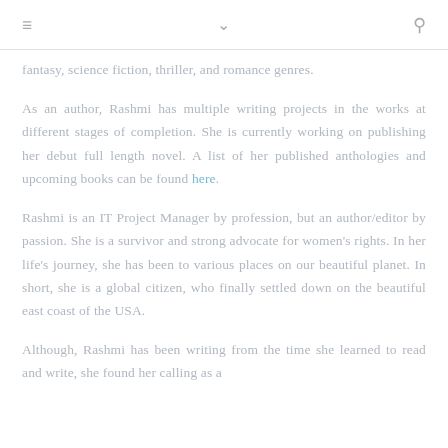≡  ∨  🔍
fantasy, science fiction, thriller, and romance genres.
As an author, Rashmi has multiple writing projects in the works at different stages of completion. She is currently working on publishing her debut full length novel. A list of her published anthologies and upcoming books can be found here.
Rashmi is an IT Project Manager by profession, but an author/editor by passion. She is a survivor and strong advocate for women's rights. In her life's journey, she has been to various places on our beautiful planet. In short, she is a global citizen, who finally settled down on the beautiful east coast of the USA.
Although, Rashmi has been writing from the time she learned to read and write, she found her calling as a